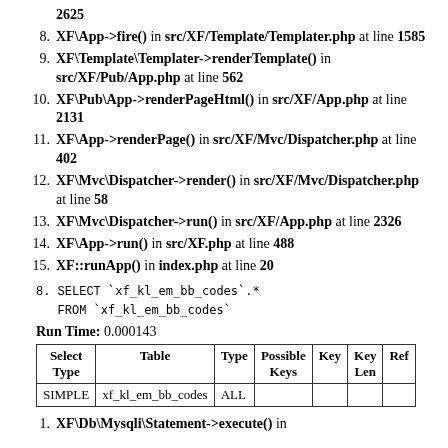2625
8. XF\App->fire() in src/XF/Template/Templater.php at line 1585
9. XF\Template\Templater->renderTemplate() in src/XF/Pub/App.php at line 562
10. XF\Pub\App->renderPageHtml() in src/XF/App.php at line 2131
11. XF\App->renderPage() in src/XF/Mvc/Dispatcher.php at line 402
12. XF\Mvc\Dispatcher->render() in src/XF/Mvc/Dispatcher.php at line 58
13. XF\Mvc\Dispatcher->run() in src/XF/App.php at line 2326
14. XF\App->run() in src/XF.php at line 488
15. XF::runApp() in index.php at line 20
8. SELECT `xf_kl_em_bb_codes`.* FROM `xf_kl_em_bb_codes`
Run Time: 0.000143
| Select Type | Table | Type | Possible Keys | Key | Key Len | Ref |
| --- | --- | --- | --- | --- | --- | --- |
| SIMPLE | xf_kl_em_bb_codes | ALL |  |  |  |  |
1. XF\Db\Mysqli\Statement->execute() in